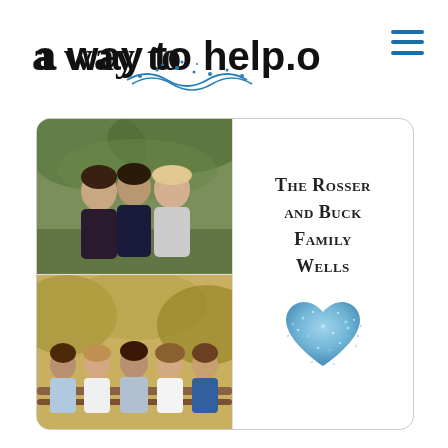[Figure (logo): a way to help.org logo with handwritten-style text and water splash graphic]
[Figure (photo): Card with two family photos on the left side and text 'The Rosser and Buck Family Wells' with a blue glitter heart on the right]